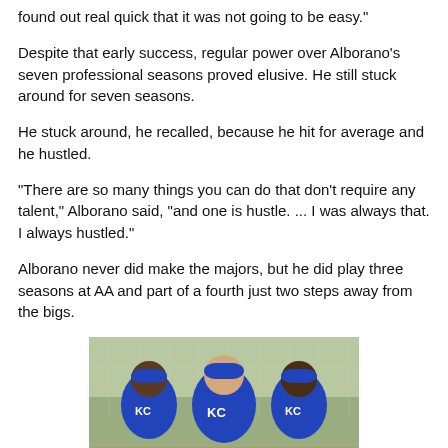found out real quick that it was not going to be easy."
Despite that early success, regular power over Alborano's seven professional seasons proved elusive. He still stuck around for seven seasons.
He stuck around, he recalled, because he hit for average and he hustled.
"There are so many things you can do that don't require any talent," Alborano said, "and one is hustle. ... I was always that. I always hustled."
Alborano never did make the majors, but he did play three seasons at AA and part of a fourth just two steps away from the bigs.
[Figure (photo): Three men wearing Kansas City Royals blue baseball uniforms posing together outdoors near a chain-link fence.]